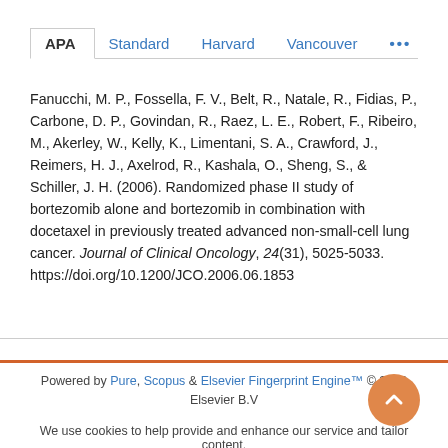APA   Standard   Harvard   Vancouver   ...
Fanucchi, M. P., Fossella, F. V., Belt, R., Natale, R., Fidias, P., Carbone, D. P., Govindan, R., Raez, L. E., Robert, F., Ribeiro, M., Akerley, W., Kelly, K., Limentani, S. A., Crawford, J., Reimers, H. J., Axelrod, R., Kashala, O., Sheng, S., & Schiller, J. H. (2006). Randomized phase II study of bortezomib alone and bortezomib in combination with docetaxel in previously treated advanced non-small-cell lung cancer. Journal of Clinical Oncology, 24(31), 5025-5033. https://doi.org/10.1200/JCO.2006.06.1853
Powered by Pure, Scopus & Elsevier Fingerprint Engine™ © 2022 Elsevier B.V
We use cookies to help provide and enhance our service and tailor content.